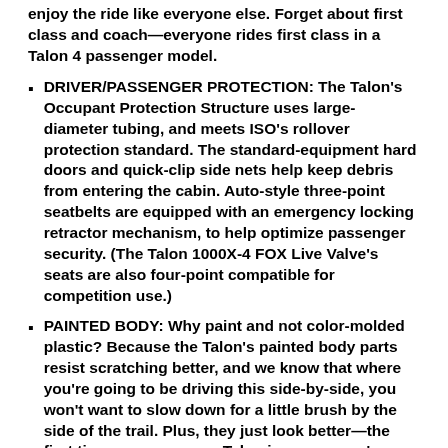enjoy the ride like everyone else. Forget about first class and coach—everyone rides first class in a Talon 4 passenger model.
DRIVER/PASSENGER PROTECTION: The Talon's Occupant Protection Structure uses large-diameter tubing, and meets ISO's rollover protection standard. The standard-equipment hard doors and quick-clip side nets help keep debris from entering the cabin. Auto-style three-point seatbelts are equipped with an emergency locking retractor mechanism, to help optimize passenger security. (The Talon 1000X-4 FOX Live Valve's seats are also four-point compatible for competition use.)
PAINTED BODY: Why paint and not color-molded plastic? Because the Talon's painted body parts resist scratching better, and we know that where you're going to be driving this side-by-side, you won't want to slow down for a little brush by the side of the trail. Plus, they just look better—the first time you see a new Talon in person, we're sure you'll agree.
NEW COLORS: Just keeping things fresh here—check